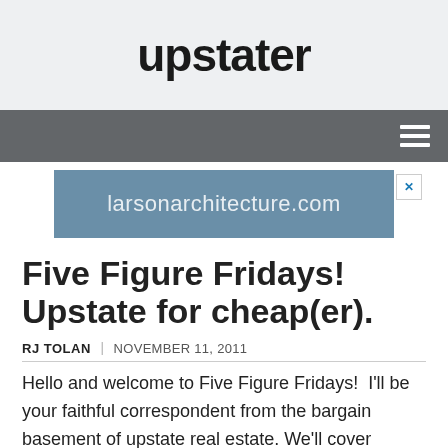upstater
[Figure (screenshot): Dark gray navigation bar with hamburger menu icon (three horizontal white lines) on the right side]
[Figure (screenshot): Advertisement banner for larsonarchitecture.com in a blue-gray color with a close (X) button in upper right]
Five Figure Fridays! Upstate for cheap(er).
RJ TOLAN  |  NOVEMBER 11, 2011
Hello and welcome to Five Figure Fridays!  I'll be your faithful correspondent from the bargain basement of upstate real estate. We'll cover anything that gets your price of admission down below